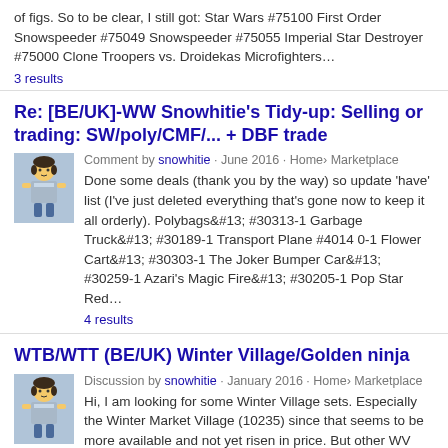of figs. So to be clear, I still got: Star Wars #75100 First Order Snowspeeder #75049 Snowspeeder #75055 Imperial Star Destroyer #75000 Clone Troopers vs. Droidekas Microfighters…
3 results
Re: [BE/UK]-WW Snowhitie's Tidy-up: Selling or trading: SW/poly/CMF/... + DBF trade
Comment by snowhitie · June 2016 · Home› Marketplace
Done some deals (thank you by the way) so update 'have' list (I've just deleted everything that's gone now to keep it all orderly). Polybags&#13; #30313-1 Garbage Truck&#13; #30189-1 Transport Plane #4014 0-1 Flower Cart&#13; #30303-1 The Joker Bumper Car&#13; #30259-1 Azari's Magic Fire&#13; #30205-1 Pop Star Red…
4 results
WTB/WTT (BE/UK) Winter Village/Golden ninja
Discussion by snowhitie · January 2016 · Home› Marketplace
Hi, I am looking for some Winter Village sets. Especially the Winter Market Village (10235) since that seems to be more available and not yet risen in price. But other WV sets would be great to, I've only got the toy shop that came out this year and Santa's Workshop.